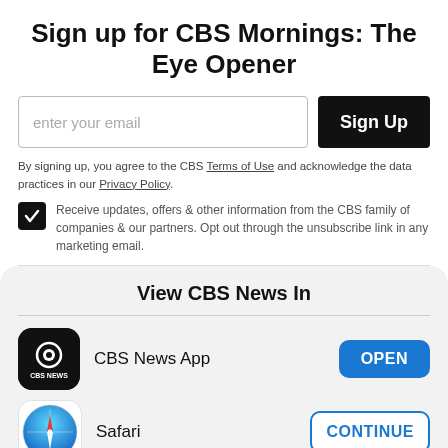Sign up for CBS Mornings: The Eye Opener
enter your email
Sign Up
By signing up, you agree to the CBS Terms of Use and acknowledge the data practices in our Privacy Policy.
Receive updates, offers & other information from the CBS family of companies & our partners. Opt out through the unsubscribe link in any marketing email.
View CBS News In
CBS News App
OPEN
Safari
CONTINUE